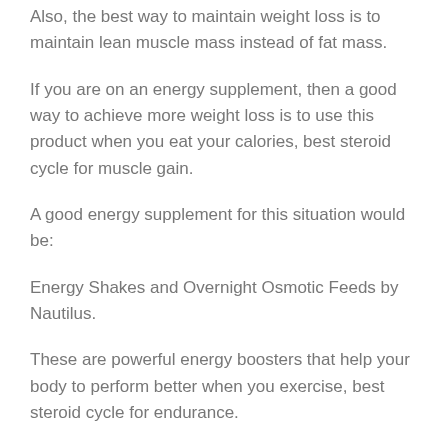Also, the best way to maintain weight loss is to maintain lean muscle mass instead of fat mass.
If you are on an energy supplement, then a good way to achieve more weight loss is to use this product when you eat your calories, best steroid cycle for muscle gain.
A good energy supplement for this situation would be:
Energy Shakes and Overnight Osmotic Feeds by Nautilus.
These are powerful energy boosters that help your body to perform better when you exercise, best steroid cycle for endurance.
They also help provide your muscles with more needed oxygen to perform at its greatest.